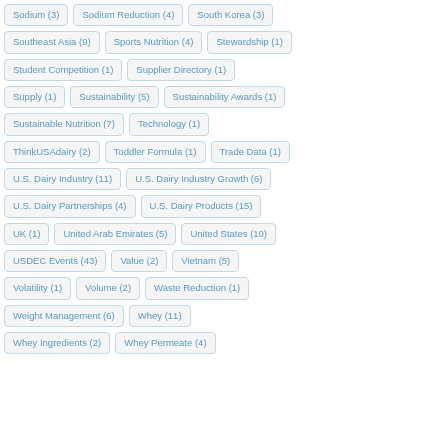Sodium (3)
Sodium Reduction (4)
South Korea (3)
Southeast Asia (9)
Sports Nutrition (4)
Stewardship (1)
Student Competition (1)
Supplier Directory (1)
Supply (1)
Sustainability (5)
Sustainability Awards (1)
Sustainable Nutrition (7)
Technology (1)
ThinkUSAdairy (2)
Toddler Formula (1)
Trade Data (1)
U.S. Dairy Industry (11)
U.S. Dairy Industry Growth (6)
U.S. Dairy Partnerships (4)
U.S. Dairy Products (15)
UK (1)
United Arab Emirates (5)
United States (10)
USDEC Events (43)
Value (2)
Vietnam (5)
Volatility (1)
Volume (2)
Waste Reduction (1)
Weight Management (6)
Whey (11)
Whey Ingredients (2)
Whey Permeate (4)